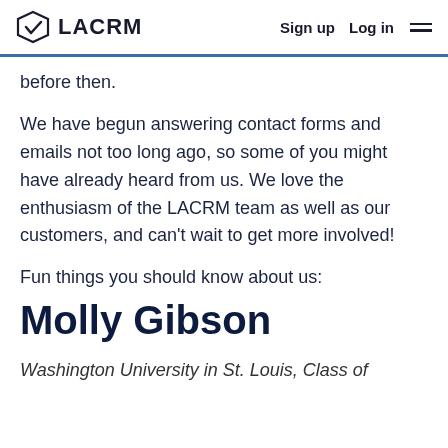LACRM  Sign up  Log in
before then.
We have begun answering contact forms and emails not too long ago, so some of you might have already heard from us. We love the enthusiasm of the LACRM team as well as our customers, and can't wait to get more involved!
Fun things you should know about us:
Molly Gibson
Washington University in St. Louis, Class of